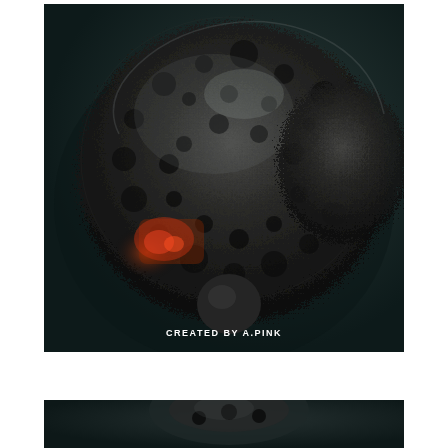[Figure (photo): Close-up photograph of a dark, porous, volcanic or meteorite-like rock with a rough, cratered surface. The rock has a dark grey/black color with hints of reddish-orange minerals visible in the lower left area. The background is dark teal/grey. A watermark reads 'CREATED BY A.PINK' in white text at the bottom of the image.]
[Figure (photo): Partial view of a similar dark porous rock, cropped at the bottom of the page. Same dark background.]